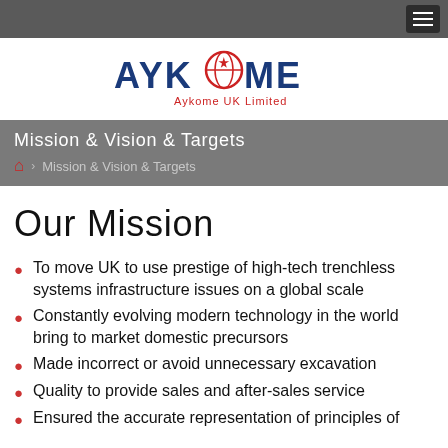[Figure (logo): Aykome UK Limited logo with stylized text and globe graphic]
Mission & Vision & Targets
Mission & Vision & Targets (breadcrumb)
Our Mission
To move UK to use prestige of high-tech trenchless systems infrastructure issues on a global scale
Constantly evolving modern technology in the world bring to market domestic precursors
Made incorrect or avoid unnecessary excavation
Quality to provide sales and after-sales service
Ensured the accurate representation of principles of...